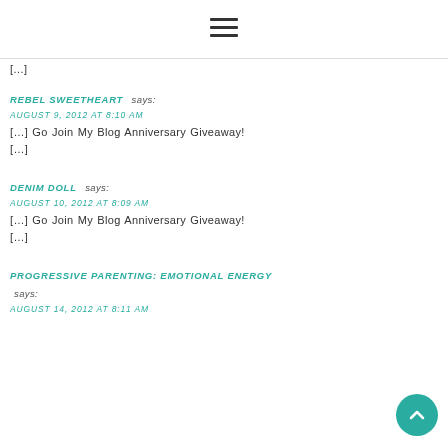[Figure (other): Hamburger menu icon (three horizontal lines)]
[…]
REBEL SWEETHEART says:
AUGUST 9, 2012 AT 8:10 AM
[…] Go Join My Blog Anniversary Giveaway! […]
DENIM DOLL says:
AUGUST 10, 2012 AT 8:09 AM
[…] Go Join My Blog Anniversary Giveaway! […]
PROGRESSIVE PARENTING: EMOTIONAL ENERGY says:
AUGUST 14, 2012 AT 8:11 AM